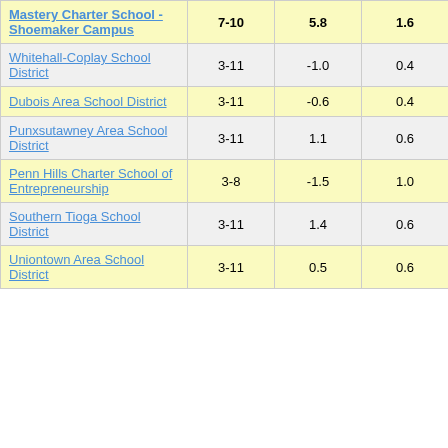| School/District | Grades | Col3 | Col4 | Score |
| --- | --- | --- | --- | --- |
| Mastery Charter School - Shoemaker Campus | 7-10 | 5.8 | 1.6 | 3.54 |
| Whitehall-Coplay School District | 3-11 | -1.0 | 0.4 | -2.56 |
| Dubois Area School District | 3-11 | -0.6 | 0.4 | -1.40 |
| Punxsutawney Area School District | 3-11 | 1.1 | 0.6 | 1.97 |
| Penn Hills Charter School of Entrepreneurship | 3-8 | -1.5 | 1.0 | -1.52 |
| Southern Tioga School District | 3-11 | 1.4 | 0.6 | 2.28 |
| Uniontown Area School District | 3-11 | 0.5 | 0.6 | 0.79 |